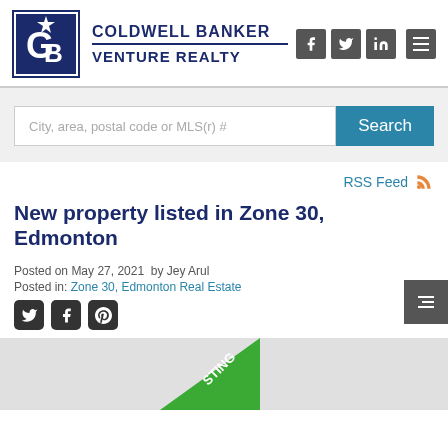[Figure (logo): Coldwell Banker Venture Realty logo with GB star icon in dark blue square, brand name text, and social media icons (Facebook, Twitter, LinkedIn) plus hamburger menu]
City, area, postal code or MLS(r) #
Search
New property listed in Zone 30, Edmonton
Posted on May 27, 2021  by Jey Arul
Posted in: Zone 30, Edmonton Real Estate
[Figure (illustration): Property listing image partially visible with green LISTING diagonal banner in bottom left corner]